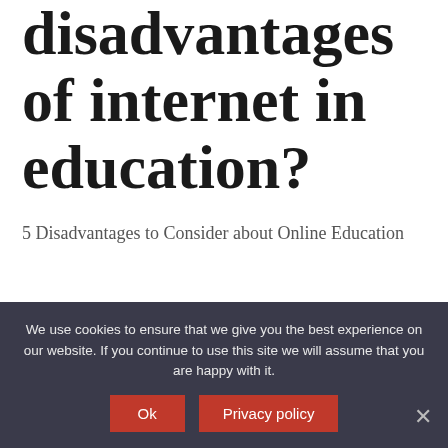disadvantages of internet in education?
5 Disadvantages to Consider about Online Education
Lack of accreditation and low quality. Before you enroll in any online course, check that the program is accredited and verify this information with the accrediting agency.
We use cookies to ensure that we give you the best experience on our website. If you continue to use this site we will assume that you are happy with it.